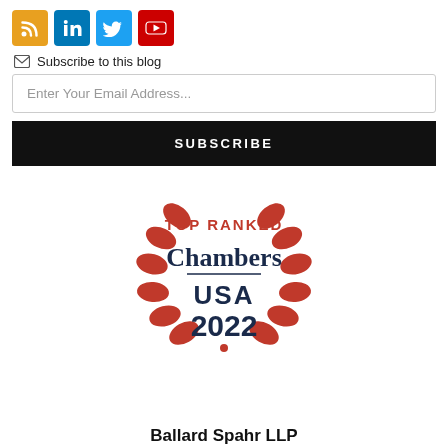[Figure (infographic): Social media icons: RSS (orange), LinkedIn (blue), Twitter (light blue), YouTube (red)]
Subscribe to this blog
Enter Your Email Address...
SUBSCRIBE
[Figure (logo): Chambers USA 2022 Top Ranked badge with red laurel wreath and navy text]
Ballard Spahr LLP